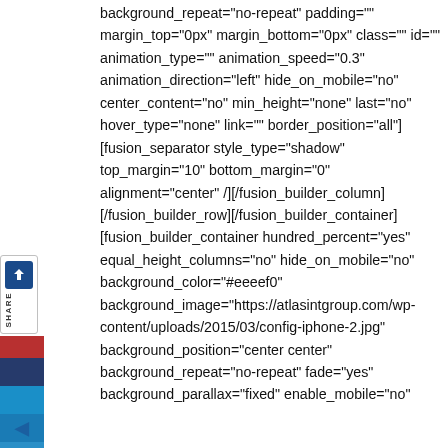background_repeat="no-repeat" padding=""
margin_top="0px" margin_bottom="0px" class="" id=""
animation_type="" animation_speed="0.3"
animation_direction="left" hide_on_mobile="no"
center_content="no" min_height="none" last="no"
hover_type="none" link="" border_position="all"]
[fusion_separator style_type="shadow"
top_margin="10" bottom_margin="0"
alignment="center" /][/fusion_builder_column]
[/fusion_builder_row][/fusion_builder_container]
[fusion_builder_container hundred_percent="yes"
equal_height_columns="no" hide_on_mobile="no"
background_color="#eeeef0"
background_image="https://atlasintgroup.com/wp-content/uploads/2015/03/config-iphone-2.jpg"
background_position="center center"
background_repeat="no-repeat" fade="yes"
background_parallax="fixed" enable_mobile="no"